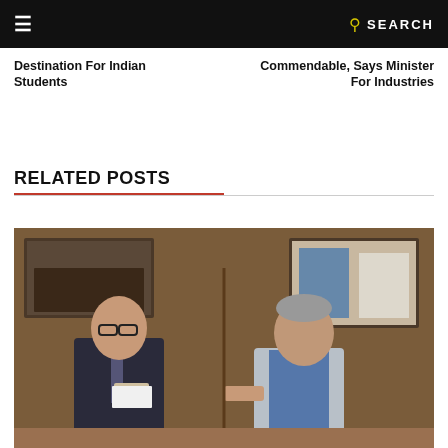≡   SEARCH
Destination For Indian Students
Commendable, Says Minister For Industries
RELATED POSTS
[Figure (photo): Two men shaking hands and exchanging a document inside an office, with framed group photos visible on the wooden wall behind them. One man wears a dark suit with glasses, the other wears a light gray blazer. A second photo on the right shows another meeting or event scene.]